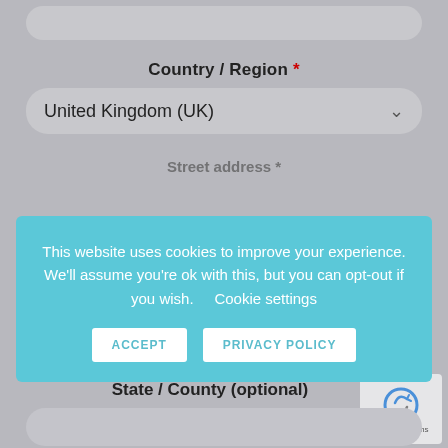Country / Region *
United Kingdom (UK)
This website uses cookies to improve your experience. We'll assume you're ok with this, but you can opt-out if you wish.    Cookie settings
ACCEPT
PRIVACY POLICY
State / County (optional)